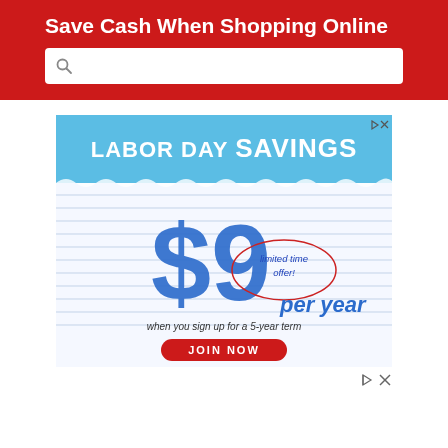Save Cash When Shopping Online
[Figure (screenshot): Search bar with magnifying glass icon on red background]
[Figure (infographic): Labor Day Savings advertisement: $9 per year when you sign up for a 5-year term, limited time offer, JOIN NOW button. Blue sky top banner, lined paper background with large blue $9 text.]